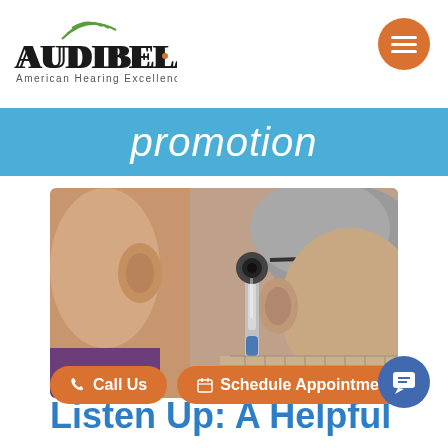Audibel — American Hearing Excellence
promotion
[Figure (photo): A healthcare professional examining an elderly woman's ear with an otoscope instrument. Close-up shot showing the doctor leaning in from the left, and the patient facing right wearing glasses.]
Call Us   Schedule Appointment
Listen Up: A Helpful